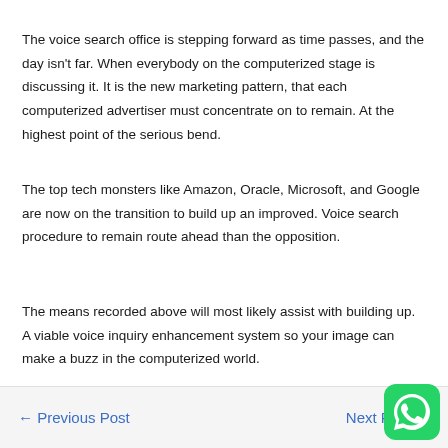The voice search office is stepping forward as time passes, and the day isn't far. When everybody on the computerized stage is discussing it. It is the new marketing pattern, that each computerized advertiser must concentrate on to remain. At the highest point of the serious bend.
The top tech monsters like Amazon, Oracle, Microsoft, and Google are now on the transition to build up an improved. Voice search procedure to remain route ahead than the opposition.
The means recorded above will most likely assist with building up. A viable voice inquiry enhancement system so your image can make a buzz in the computerized world.
← Previous Post    Next Post →